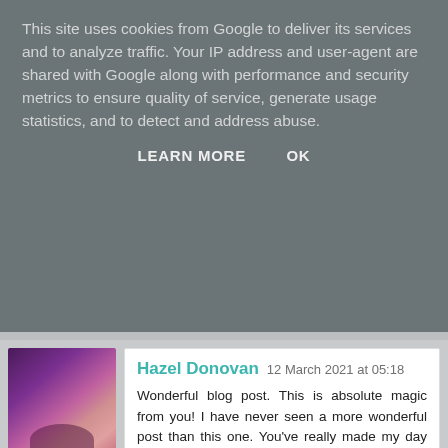This site uses cookies from Google to deliver its services and to analyze traffic. Your IP address and user-agent are shared with Google along with performance and security metrics to ensure quality of service, generate usage statistics, and to detect and address abuse.
LEARN MORE   OK
Hazel Donovan  12 March 2021 at 05:18
Wonderful blog post. This is absolute magic from you! I have never seen a more wonderful post than this one. You've really made my day today with this. I hope you keep this up!
cash for cars caboolture
cash for scrap cars caboolture
Reply
Kelly Byrnes  12 March 2021 at 05:29
I have read your excellent post. This is a great job. I have enjoyed reading your post first time. I want to say thanks for this post. Thank you...